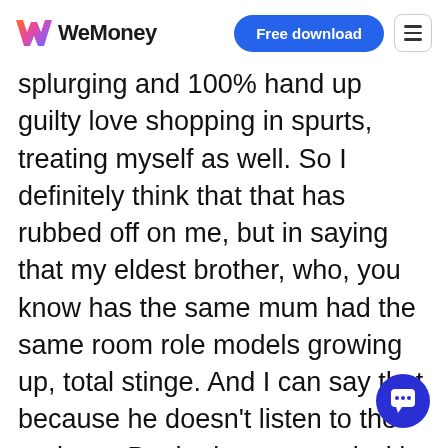WeMoney | Free download
splurging and 100% hand up guilty love shopping in spurts, treating myself as well. So I definitely think that that has rubbed off on me, but in saying that my eldest brother, who, you know has the same mum had the same room role models growing up, total stinge. And I can say that because he doesn't listen to the podcast. But he is very good with his money very strict with his budgeting, which is pretty awesome. But yeah, I can definitely see how my spending habits have been impacted by the way that I was raised for sure.